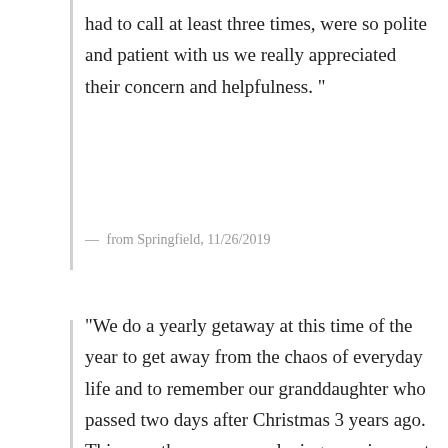had to call at least three times, were so polite and patient with us we really appreciated their concern and helpfulness. "
— from Springfield, 11/26/2019
"We do a yearly getaway at this time of the year to get away from the chaos of everyday life and to remember our granddaughter who passed two days after Christmas 3 years ago. This year there was no relaxing or enjoyment as the house was absolutely filthy when we arrived, requiring (after attempting to clean it ourselves) a different housekeeper to come and clean taking our entire first evening. The second day we attempted to make a fire to find there was no firewood or